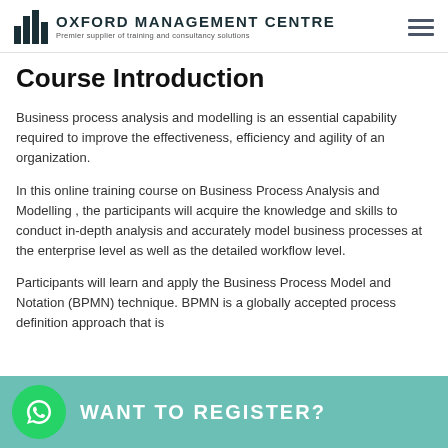OXFORD MANAGEMENT CENTRE — Premier supplier of training and consultancy solutions
Course Introduction
Business process analysis and modelling is an essential capability required to improve the effectiveness, efficiency and agility of an organization.
In this online training course on Business Process Analysis and Modelling , the participants will acquire the knowledge and skills to conduct in-depth analysis and accurately model business processes at the enterprise level as well as the detailed workflow level.
Participants will learn and apply the Business Process Model and Notation (BPMN) technique. BPMN is a globally accepted process definition approach that is
[Figure (other): WhatsApp icon circle with green background inside teal CTA bar]
WANT TO REGISTER?